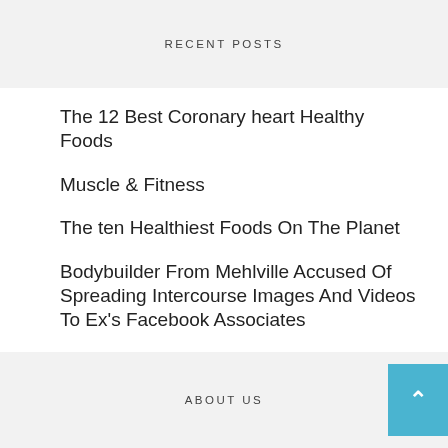RECENT POSTS
The 12 Best Coronary heart Healthy Foods
Muscle & Fitness
The ten Healthiest Foods On The Planet
Bodybuilder From Mehlville Accused Of Spreading Intercourse Images And Videos To Ex's Facebook Associates
5 Day Macro Weight-reduction plan Meal Plan
ABOUT US